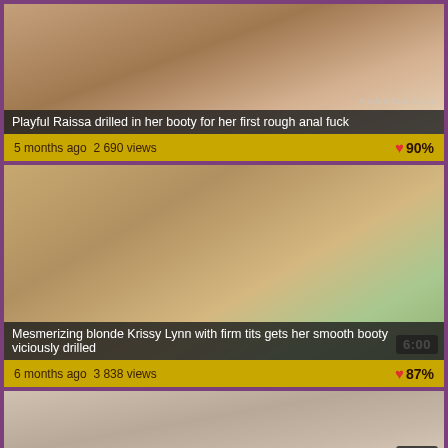[Figure (photo): Video thumbnail showing adult content - first video]
Playful Raissa drilled in her booty for her first rough anal fuck
5 months ago  2 690 views   ♥ 90%
[Figure (photo): Video thumbnail showing adult content - second video, timer 6:00]
Mesmerizing blonde Krissy Lynn with firm tits gets her smooth booty viciously drilled
6 months ago  3 838 views   ♥ 87%
[Figure (photo): Video thumbnail showing adult content - third video, timer 6:00]